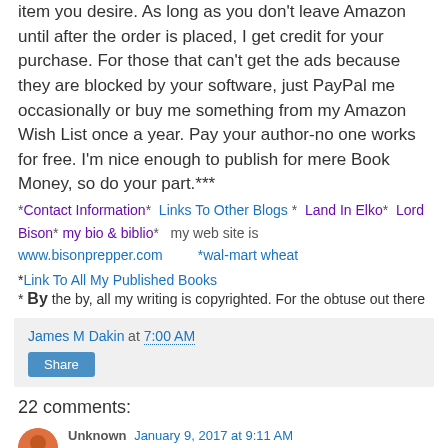item you desire. As long as you don't leave Amazon until after the order is placed, I get credit for your purchase.  For those that can't get the ads because they are blocked by your software, just PayPal me occasionally or buy me something from my Amazon Wish List once a year.  Pay your author-no one works for free.  I'm nice enough to publish for mere Book Money, so do your part.***
*Contact Information*  Links To Other Blogs *  Land In Elko*  Lord Bison*  my bio & biblio*   my web site is www.bisonprepper.com         *wal-mart wheat
*Link To All My Published Books
* By the by, all my writing is copyrighted. For the obtuse out there
James M Dakin at 7:00 AM
Share
22 comments:
Unknown  January 9, 2017 at 9:11 AM